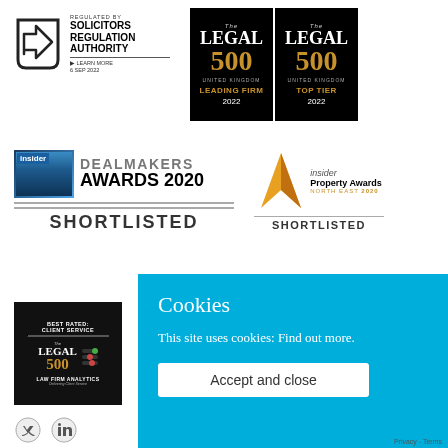[Figure (logo): Solicitors Regulation Authority badge with arrow icon, 'Regulated by Solicitors Regulation Authority', Learn More link, date 6 SEP 2022]
[Figure (logo): The Legal 500 United Kingdom Leading Firm 2022 black badge]
[Figure (logo): The Legal 500 United Kingdom Top Tier 2022 black badge]
[Figure (logo): Insider Dealmakers Awards 2020 Shortlisted badge with handshake photo]
[Figure (logo): Insider Property Awards North East 2020 Shortlisted badge with orange arrow logo]
[Figure (logo): Legal 500 Best Rated: Client Service Law Firm Analytics black badge with slider graphics]
Cookies
This site uses cookies: Find out more.
Accept and close
Privacy - Terms